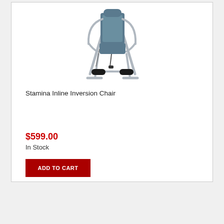[Figure (photo): Product photo of a Stamina Inline Inversion Chair — a gray metal frame inversion/exercise chair with blue padded seat and backrests, black foam roller foot holders, and curved armrests, shown at a slight angle.]
Stamina Inline Inversion Chair
$599.00
In Stock
ADD TO CART